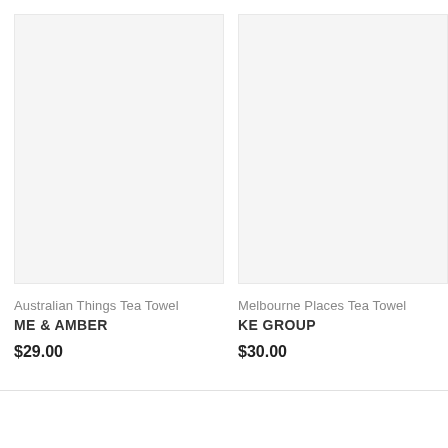[Figure (photo): Product image placeholder for Australian Things Tea Towel, light gray background]
Australian Things Tea Towel
ME & AMBER
$29.00
[Figure (photo): Product image placeholder for Melbourne Places Tea Towel, light gray background]
Melbourne Places Tea Towel
KE GROUP
$30.00